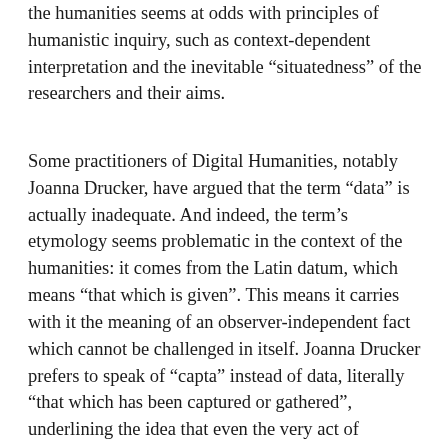the humanities seems at odds with principles of humanistic inquiry, such as context-dependent interpretation and the inevitable “situatedness” of the researchers and their aims.
Some practitioners of Digital Humanities, notably Joanna Drucker, have argued that the term “data” is actually inadequate. And indeed, the term’s etymology seems problematic in the context of the humanities: it comes from the Latin datum, which means “that which is given”. This means it carries with it the meaning of an observer-independent fact which cannot be challenged in itself. Joanna Drucker prefers to speak of “capta” instead of data, literally “that which has been captured or gathered”, underlining the idea that even the very act of capturing data in the first place is oriented by certain goals, done with specific instruments, and driven by a specific attention to a small part of what could have been captured given different goals and instruments. In other words, capturing data is not passively accepting what is given, but actively constructing